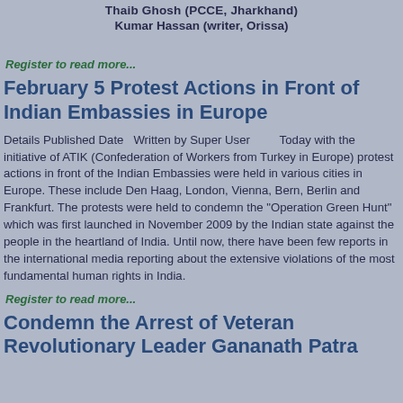Thaib Ghosh (PCCE, Jharkhand)
Kumar Hassan (writer, Orissa)
Register to read more...
February 5 Protest Actions in Front of Indian Embassies in Europe
Details Published Date  Written by Super User        Today with the initiative of ATIK (Confederation of Workers from Turkey in Europe) protest actions in front of the Indian Embassies were held in various cities in Europe. These include Den Haag, London, Vienna, Bern, Berlin and Frankfurt. The protests were held to condemn the "Operation Green Hunt" which was first launched in November 2009 by the Indian state against the people in the heartland of India. Until now, there have been few reports in the international media reporting about the extensive violations of the most fundamental human rights in India.
Register to read more...
Condemn the Arrest of Veteran Revolutionary Leader Gananath Patra